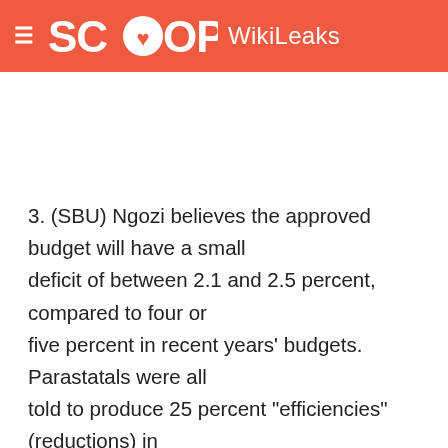SCOOP WikiLeaks
3. (SBU) Ngozi believes the approved budget will have a small deficit of between 2.1 and 2.5 percent, compared to four or five percent in recent years' budgets. Parastatals were all told to produce 25 percent "efficiencies" (reductions) in